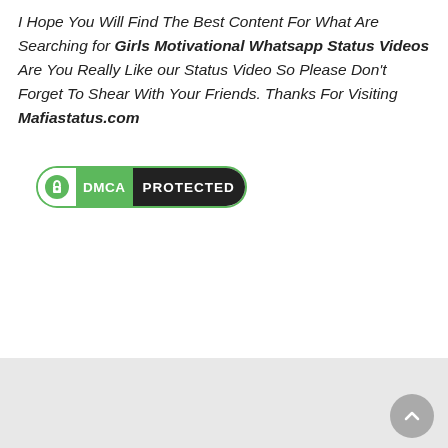I Hope You Will Find The Best Content For What Are Searching for Girls Motivational Whatsapp Status Videos Are You Really Like our Status Video So Please Don't Forget To Shear With Your Friends. Thanks For Visiting Mafiastatus.com
[Figure (logo): DMCA Protected badge with green lock icon, green DMCA label, and dark PROTECTED text]